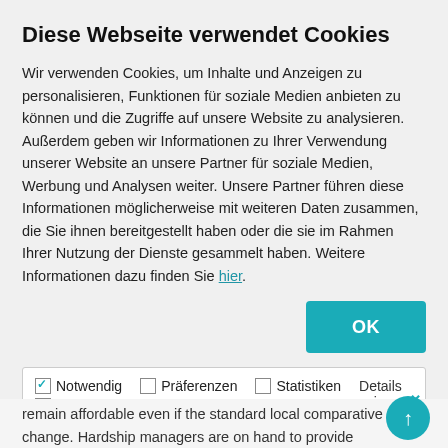Diese Webseite verwendet Cookies
Wir verwenden Cookies, um Inhalte und Anzeigen zu personalisieren, Funktionen für soziale Medien anbieten zu können und die Zugriffe auf unsere Website zu analysieren. Außerdem geben wir Informationen zu Ihrer Verwendung unserer Website an unsere Partner für soziale Medien, Werbung und Analysen weiter. Unsere Partner führen diese Informationen möglicherweise mit weiteren Daten zusammen, die Sie ihnen bereitgestellt haben oder die sie im Rahmen Ihrer Nutzung der Dienste gesammelt haben. Weitere Informationen dazu finden Sie hier.
| ✓ Notwendig | Präferenzen | Statistiken | Details zeigen ∨ |
| Marketing |  |  |  |
remain affordable even if the standard local comparative rents change. Hardship managers are on hand to provide